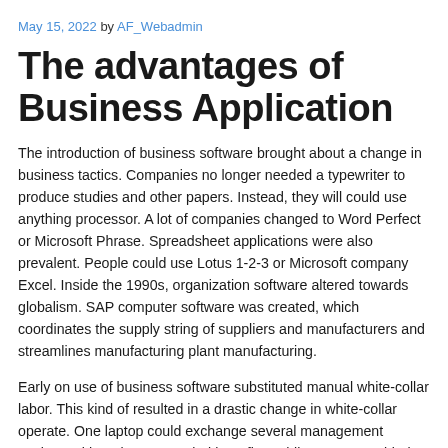May 15, 2022 by AF_Webadmin
The advantages of Business Application
The introduction of business software brought about a change in business tactics. Companies no longer needed a typewriter to produce studies and other papers. Instead, they will could use anything processor. A lot of companies changed to Word Perfect or Microsoft Phrase. Spreadsheet applications were also prevalent. People could use Lotus 1-2-3 or Microsoft company Excel. Inside the 1990s, organization software altered towards globalism. SAP computer software was created, which coordinates the supply string of suppliers and manufacturers and streamlines manufacturing plant manufacturing.
Early on use of business software substituted manual white-collar labor. This kind of resulted in a drastic change in white-collar operate. One laptop could exchange several management workers with no longer needed benefits. While computer-aided creating for computer-aided manufacturing set about in the 1980s, corporate consumers required business software program to replace the drafting blank. Project